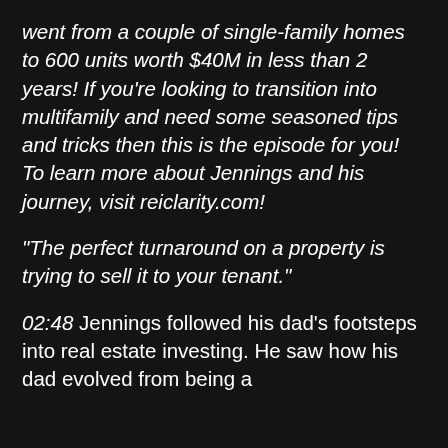went from a couple of single-family homes to 600 units worth $40M in less than 2 years! If you're looking to transition into multifamily and need some seasoned tips and tricks then this is the episode for you! To learn more about Jennings and his journey, visit reiclarity.com!
“The perfect turnaround on a property is trying to sell it to your tenant.”
02:48 Jennings followed his dad’s footsteps into real estate investing. He saw how his dad evolved from being a